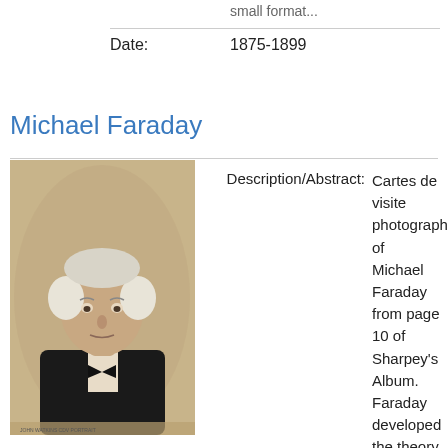small format...
Date:
1875-1899
Michael Faraday
[Figure (photo): Cartes de visite photograph of Michael Faraday, an elderly man with white hair, wearing a dark coat and bow tie.]
Description/Abstract:
Cartes de visite photograph of Michael Faraday from page 10 of Sharpey's Album. Faraday developed the theory of electricity. Photographed by John Watkins.